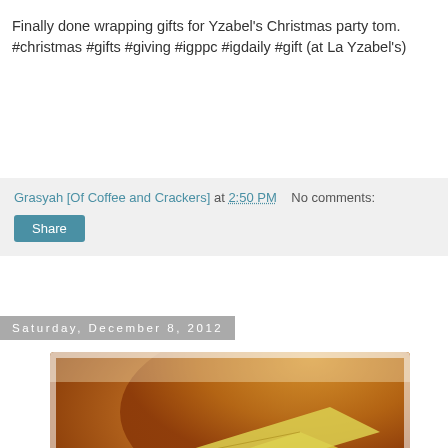Finally done wrapping gifts for Yzabel's Christmas party tom. #christmas #gifts #giving #igppc #igdaily #gift (at La Yzabel's)
Grasyah [Of Coffee and Crackers] at 2:50 PM   No comments:
Share
Saturday, December 8, 2012
[Figure (photo): Close-up photo of sliced cheese (yellow/pale slices) with bread or crackers in background, warm tones, Instagram-style with white border vignette]